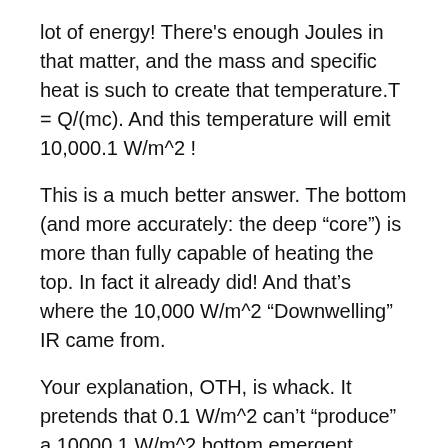lot of energy! There's enough Joules in that matter, and the mass and specific heat is such to create that temperature.T = Q/(mc). And this temperature will emit 10,000.1 W/m^2 !
This is a much better answer. The bottom (and more accurately: the deep “core”) is more than fully capable of heating the top. In fact it already did! And that’s where the 10,000 W/m^2 “Downwelling” IR came from.
Your explanation, OTH, is whack. It pretends that 0.1 W/m^2 can’t “produce” a 10000.1 W/m^2 bottom emergent radiation, and therefore needs 10000 W/m^2 to emerge from the top. Where did the top get it? the top has 0.1 W/m^2 flowing to the top top, so where did you get 10,000 W/m^2 flowing from? HMMM?